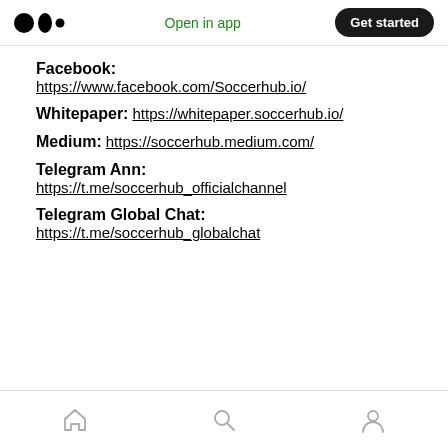Open in app | Get started
Facebook: https://www.facebook.com/Soccerhub.io/
Whitepaper: https://whitepaper.soccerhub.io/
Medium: https://soccerhub.medium.com/
Telegram Ann: https://t.me/soccerhub_officialchannel
Telegram Global Chat: https://t.me/soccerhub_globalchat
Home | Search | Profile